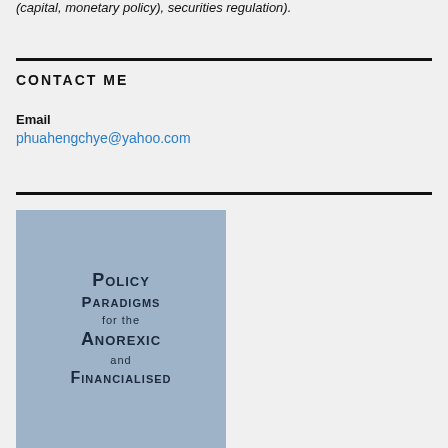(capital, monetary policy), securities regulation).
CONTACT ME
Email
phuahengchye@yahoo.com
[Figure (photo): Book cover: Policy Paradigms for the Anorexic and Financialised]